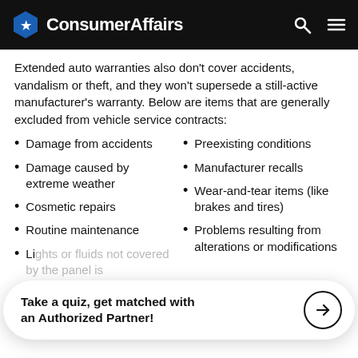ConsumerAffairs
Extended auto warranties also don't cover accidents, vandalism or theft, and they won't supersede a still-active manufacturer's warranty. Below are items that are generally excluded from vehicle service contracts:
Damage from accidents
Damage caused by extreme weather
Cosmetic repairs
Routine maintenance
Li... (partially obscured)
Preexisting conditions
Manufacturer recalls
Wear-and-tear items (like brakes and tires)
Problems resulting from alterations or modifications
Take a quiz, get matched with an Authorized Partner!